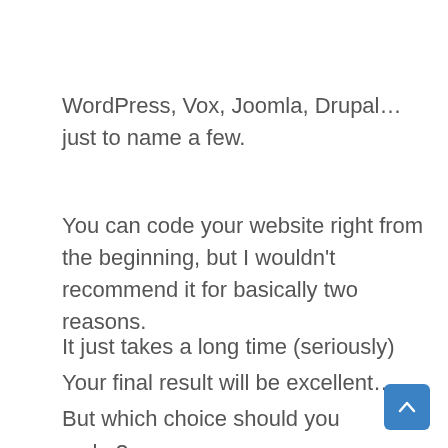WordPress, Vox, Joomla, Drupal… just to name a few.
You can code your website right from the beginning, but I wouldn't recommend it for basically two reasons.
It just takes a long time (seriously)
Your final result will be excellent…
But which choice should you make?